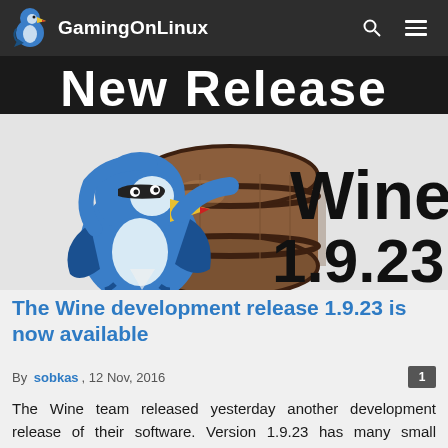GamingOnLinux
[Figure (illustration): Wine 1.9.23 promotional image: a cartoon blue bird/penguin holding a wooden barrel, with large text 'Wine' and '1.9.23' on a light grey background. A dark banner above shows 'New Release' text partially visible.]
The Wine development release 1.9.23 is now available
By sobkas, 12 Nov, 2016
The Wine team released yesterday another development release of their software. Version 1.9.23 has many small changes including 32 bugfixes.